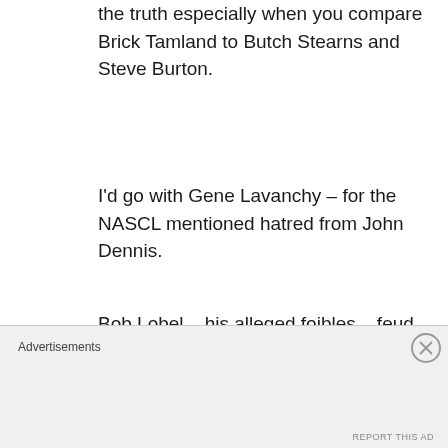the truth especially when you compare Brick Tamland to Butch Stearns and Steve Burton.
I'd go with Gene Lavanchy – for the NASCL mentioned hatred from John Dennis.
Bob Lobel – his alleged foibles – feud with a cartoon cat, young ladies, scotch are ones I don't have a problem with. Some mock the panic button, but that saved him many a time when he was
Advertisements